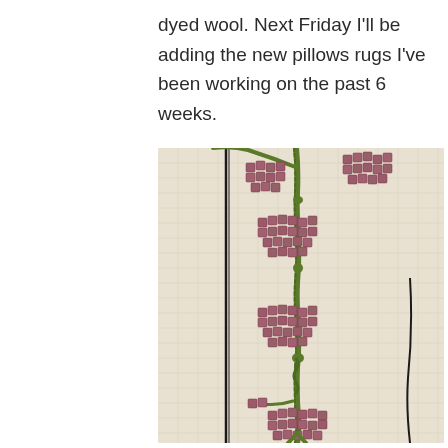dyed wool. Next Friday I'll be adding the new pillows rugs I've been working on the past 6 weeks.
[Figure (photo): Close-up photograph of embroidered needlework on linen fabric showing a stem with multiple raspberry or berry clusters made from mauve/dusty rose wool, with green stem stitching, on a cream woven cloth with black decorative border lines.]